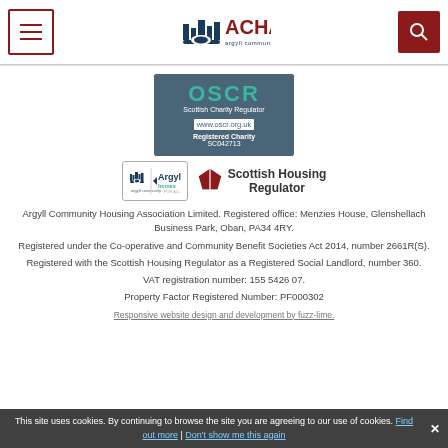[Figure (logo): ACHA Argyll Community Housing Association header with hamburger menu and search button]
[Figure (logo): OSCR Scottish Charity Regulator badge, www.oscr.org.uk, Registered Charity SC042713]
[Figure (logo): Argyll Homes For All logo badge and Scottish Housing Regulator logo]
Argyll Community Housing Association Limited. Registered office: Menzies House, Glenshellach Business Park, Oban, PA34 4RY.
Registered under the Co-operative and Community Benefit Societies Act 2014, number 2661R(S).
Registered with the Scottish Housing Regulator as a Registered Social Landlord, number 360.
VAT registration number: 155 5426 07.
Property Factor Registered Number: PF000302
Responsive website design and development by fuzz-lime.
This site uses cookies. By continuing to browse the site you are agreeing to our use of cookies. Find out more | Don't show me this again